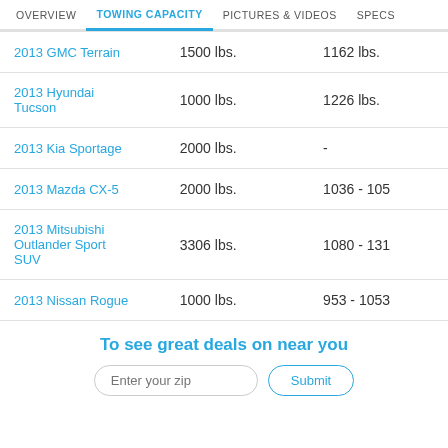OVERVIEW | TOWING CAPACITY | PICTURES & VIDEOS | SPECS
|  |  |  |
| --- | --- | --- |
| 2013 GMC Terrain | 1500 lbs. | 1162 lbs. |
| 2013 Hyundai Tucson | 1000 lbs. | 1226 lbs. |
| 2013 Kia Sportage | 2000 lbs. | - |
| 2013 Mazda CX-5 | 2000 lbs. | 1036 - 105 |
| 2013 Mitsubishi Outlander Sport SUV | 3306 lbs. | 1080 - 131 |
| 2013 Nissan Rogue | 1000 lbs. | 953 - 1053 |
To see great deals on near you
Enter your zip | Submit